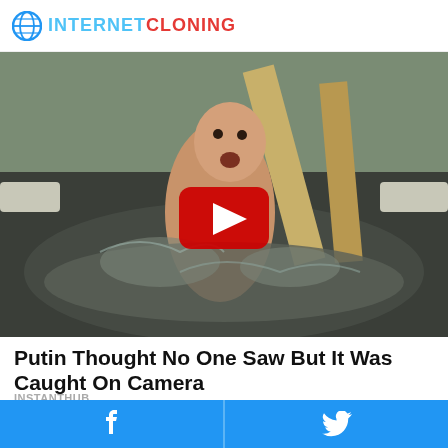INTERNET CLONING
[Figure (photo): Man in icy cold water dipping with mouth open shocked expression, wooden structure visible, YouTube play button overlay in center]
Putin Thought No One Saw But It Was Caught On Camera
INSTANTHUB
[Figure (photo): Two women with hair, one blonde with braided hair viewed from behind]
Facebook share | Twitter share